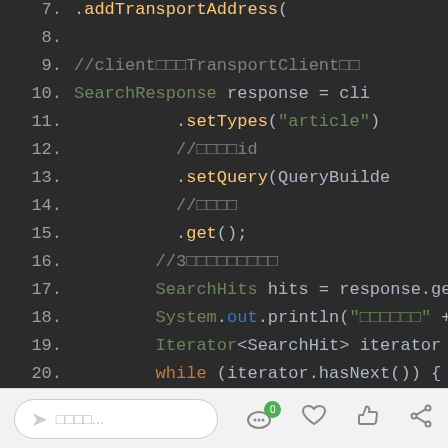[Figure (screenshot): Code editor screenshot showing Java code lines 7-25 with syntax highlighting on dark background]
Footer bar with input field, comment/chat icon with badge 0, heart icon, thumbs up icon, share icon